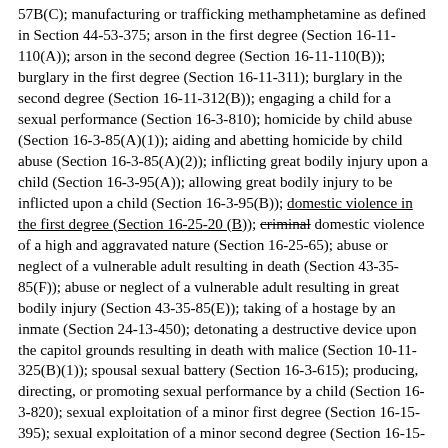57B(C); manufacturing or trafficking methamphetamine as defined in Section 44-53-375; arson in the first degree (Section 16-11-110(A)); arson in the second degree (Section 16-11-110(B)); burglary in the first degree (Section 16-11-311); burglary in the second degree (Section 16-11-312(B)); engaging a child for a sexual performance (Section 16-3-810); homicide by child abuse (Section 16-3-85(A)(1)); aiding and abetting homicide by child abuse (Section 16-3-85(A)(2)); inflicting great bodily injury upon a child (Section 16-3-95(A)); allowing great bodily injury to be inflicted upon a child (Section 16-3-95(B)); domestic violence in the first degree (Section 16-25-20 (B)); criminal domestic violence of a high and aggravated nature (Section 16-25-65); abuse or neglect of a vulnerable adult resulting in death (Section 43-35-85(F)); abuse or neglect of a vulnerable adult resulting in great bodily injury (Section 43-35-85(E)); taking of a hostage by an inmate (Section 24-13-450); detonating a destructive device upon the capitol grounds resulting in death with malice (Section 10-11-325(B)(1)); spousal sexual battery (Section 16-3-615); producing, directing, or promoting sexual performance by a child (Section 16-3-820); sexual exploitation of a minor first degree (Section 16-15-395); sexual exploitation of a minor second degree (Section 16-15-405); promoting prostitution of a minor (Section 16-15-415); participating in prostitution of a minor (Section 16-15-425); aggravated voyeurism (Section 16-17-470(C)); detonating a destructive device resulting in death with malice (Section 16-23-720(A)(1)); detonating a destructive device resulting in death